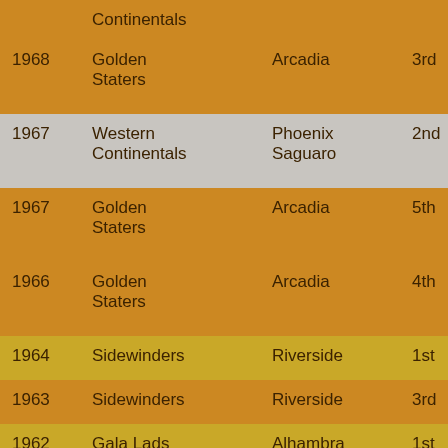| Year | Group | Location | Place |
| --- | --- | --- | --- |
|  | Continentals |  |  |
| 1968 | Golden Staters | Arcadia | 3rd |
| 1967 | Western Continentals | Phoenix Saguaro | 2nd |
| 1967 | Golden Staters | Arcadia | 5th |
| 1966 | Golden Staters | Arcadia | 4th |
| 1964 | Sidewinders | Riverside | 1st |
| 1963 | Sidewinders | Riverside | 3rd |
| 1962 | Gala Lads | Alhambra | 1st |
| 1962 | Sidewinders | Riverside | 5th |
| 1961 | Bay Town Four | Berkeley | 4th |